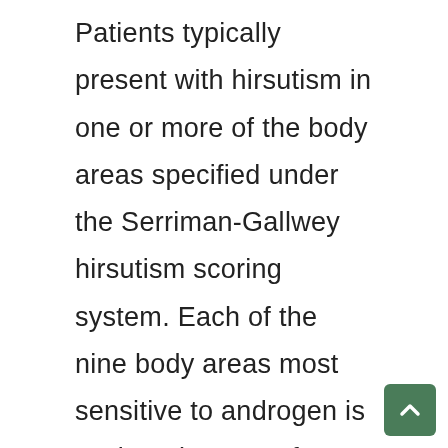Patients typically present with hirsutism in one or more of the body areas specified under the Serriman-Gallwey hirsutism scoring system. Each of the nine body areas most sensitive to androgen is assigned a score from 0 (no hair) to 4 (frankly virile), and these separate scores are summed to provide a hormonal hirsutism score.
This paper is based on Dr.Ajay Kumar's observation of his PCOD cases for the la